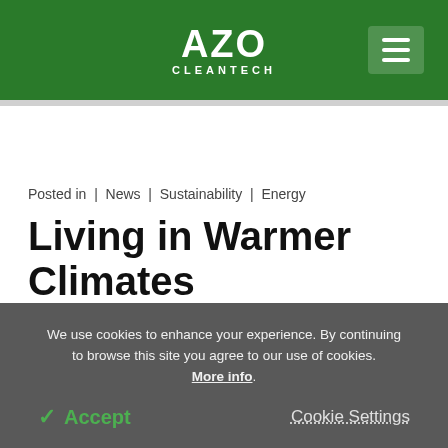AZO CLEANTECH
Posted in | News | Sustainability | Energy
Living in Warmer Climates More Sustainable Than
We use cookies to enhance your experience. By continuing to browse this site you agree to our use of cookies. More info.
✓ Accept   Cookie Settings